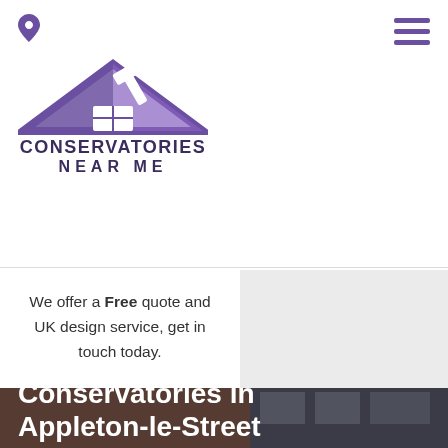[Figure (logo): Conservatories Near Me logo with purple house roof and hammer icon above text 'CONSERVATORIES NEAR ME']
We offer a Free quote and UK design service, get in touch today.
[Figure (infographic): Social media icons: Twitter, Pinterest, YouTube, Tumblr in purple on grey background]
[Figure (photo): Photo of conservatory attached to brick building, with overlaid text 'Conservatories in Appleton-le-Street']
Conservatories in Appleton-le-Street